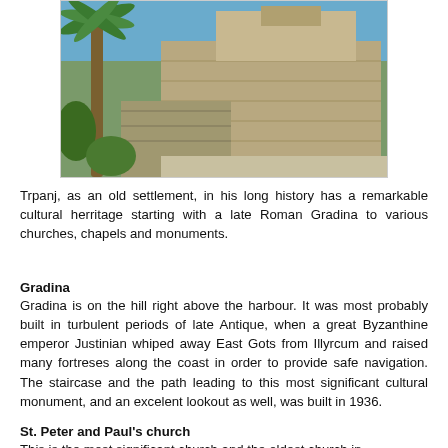[Figure (photo): Photograph of a stone church or fortress building with a palm tree in the foreground, blue sky background, stone walls and staircase visible.]
Trpanj, as an old settlement, in his long history has a remarkable cultural herritage starting with a late Roman Gradina to various churches, chapels and monuments.
Gradina
Gradina is on the hill right above the harbour. It was most probably built in turbulent periods of late Antique, when a great Byzanthine emperor Justinian whiped away East Gots from Illyrcum and raised many fortreses along the coast in order to provide safe navigation. The staircase and the path leading to this most significant cultural monument, and an excelent lookout as well, was built in 1936.
St. Peter and Paul's church
This is the most significant church and the oldest church in